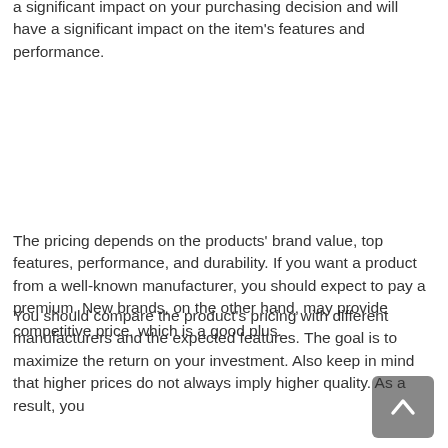a significant impact on your purchasing decision and will have a significant impact on the item's features and performance.
The pricing depends on the products' brand value, top features, performance, and durability. If you want a product from a well-known manufacturer, you should expect to pay a premium. New brands, on the other hand, may provide competitive price, which is a good plus.
You should compare the product's pricing with different manufacturers and the expected features. The goal is to maximize the return on your investment. Also keep in mind that higher prices do not always imply higher quality. As a result, you should set a budget and stick to it in order to find the